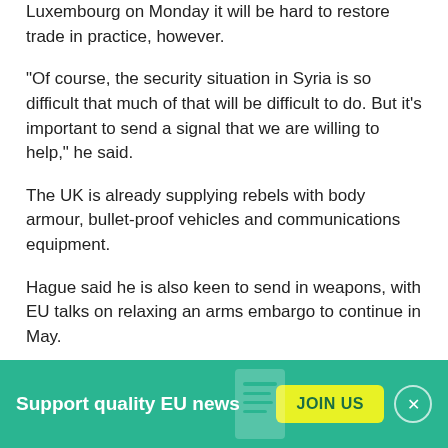Luxembourg on Monday it will be hard to restore trade in practice, however.
"Of course, the security situation in Syria is so difficult that much of that will be difficult to do. But it's important to send a signal that we are willing to help," he said.
The UK is already supplying rebels with body armour, bullet-proof vehicles and communications equipment.
Hague said he is also keen to send in weapons, with EU talks on relaxing an arms embargo to continue in May.
Nato countries' foreign ministers will in Brussels on Tuesday also discuss Syria.
Support quality EU news  JOIN US